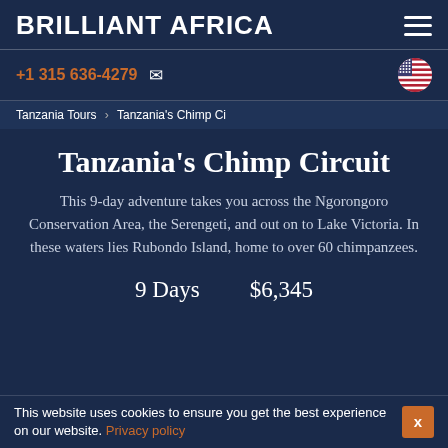BRILLIANT AFRICA
+1 315 636-4279
Tanzania Tours > Tanzania's Chimp Ci
Tanzania's Chimp Circuit
This 9-day adventure takes you across the Ngorongoro Conservation Area, the Serengeti, and out on to Lake Victoria. In these waters lies Rubondo Island, home to over 60 chimpanzees.
9 Days    $6,345
This website uses cookies to ensure you get the best experience on our website. Privacy policy